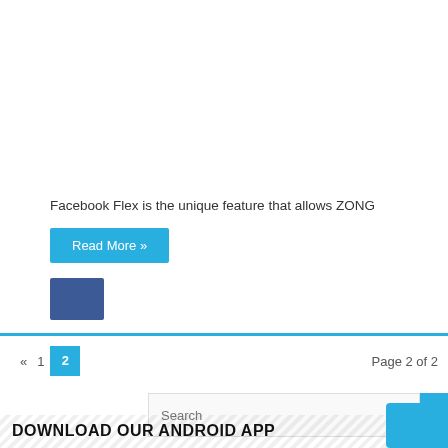Facebook Flex is the unique feature that allows ZONG
Read More »
« 1 2   Page 2 of 2
Search
DOWNLOAD OUR ANDROID APP